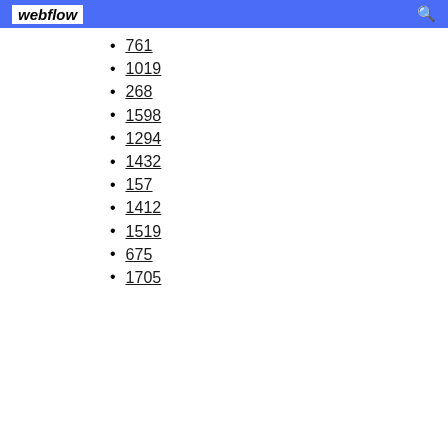webflow
761
1019
268
1598
1294
1432
157
1412
1519
675
1705